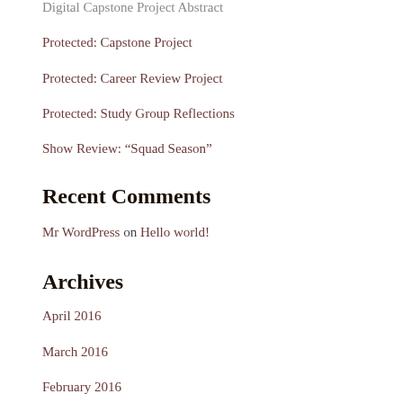Digital Capstone Project Abstract
Protected: Capstone Project
Protected: Career Review Project
Protected: Study Group Reflections
Show Review: “Squad Season”
Recent Comments
Mr WordPress on Hello world!
Archives
April 2016
March 2016
February 2016
January 2016
December 2015
September 2015